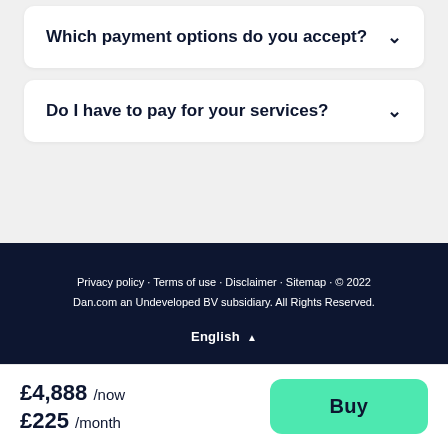Which payment options do you accept?
Do I have to pay for your services?
Privacy policy · Terms of use · Disclaimer · Sitemap · © 2022 Dan.com an Undeveloped BV subsidiary. All Rights Reserved.
English ▲
£4,888 /now £225 /month
Buy